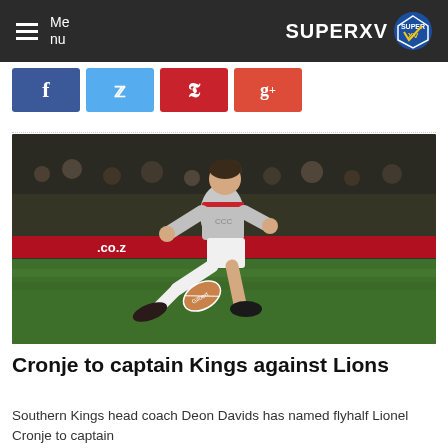Menu | SUPERXV
[Figure (other): Social sharing buttons: Facebook (blue), Twitter (light blue), Pinterest (red), Google+ (red-orange)]
[Figure (photo): Rugby player in grey kit kicking a ball during a night match on grass field]
Cronje to captain Kings against Lions
Southern Kings head coach Deon Davids has named flyhalf Lionel Cronje to captain